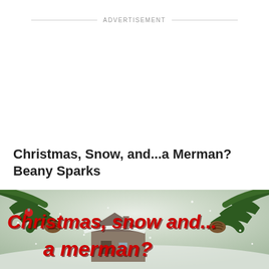ADVERTISEMENT
Christmas, Snow, and...a Merman?
Beany Sparks
[Figure (illustration): Book cover illustration showing a snowy winter scene with a cozy cabin, pine branches with pinecones in the upper corners, snowflakes falling, and bold red text reading 'Christmas, snow and... a merman?' with a dark shadow/outline effect.]